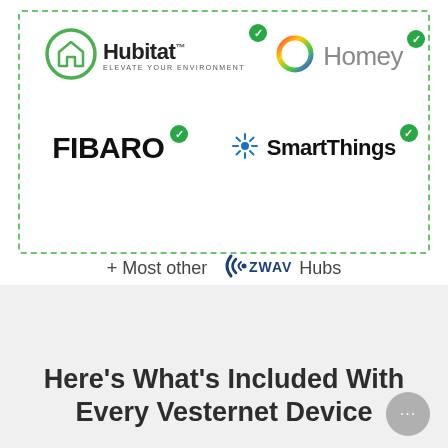[Figure (logo): Hubitat logo with green house icon and 'ELEVATE YOUR ENVIRONMENT' tagline, with green checkmark badge]
[Figure (logo): Homey logo with multicolor ring icon and grey 'Homey' text, with green checkmark badge]
[Figure (logo): FIBARO logo in bold black text with green checkmark badge]
[Figure (logo): SmartThings logo with blue snowflake-like icon and bold text, with green checkmark badge]
+ Most other Z-WAVE Hubs
Here’s What’s Included With Every Vesternet Device